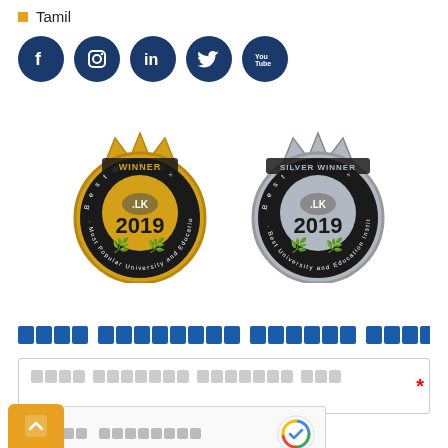Tamil
[Figure (illustration): Row of five dark blue circular social media icons: Facebook, Instagram, LinkedIn, Twitter, YouTube]
[Figure (illustration): Two award badges: Gold 'WINNER BestWeb.lk 2019 Most Popular University and Education Institute Website' and Silver 'SILVER WINNER BestWeb.lk 2019 Best University and Education Institute Website']
Tamil script text line (unreadable placeholder blocks)
Tamil script placeholder text in input field
[Figure (illustration): reCAPTCHA widget with Tamil text label and reCAPTCHA icon]